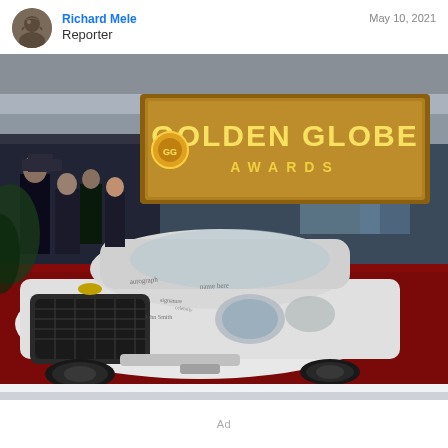Reporter | May 10, 2021
[Figure (photo): Photo of a white Chrysler 300 car covered in signatures on the red carpet at the Golden Globe Awards. Two men in dark suits stand next to the car, smiling and gesturing. In the background is a large illuminated 'Golden Globe Awards' sign and a crowd of photographers and attendees.]
Ad